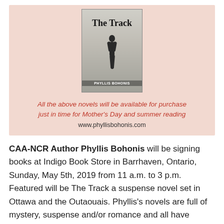[Figure (illustration): Book cover for 'The Track' by Phyllis Bohonis, showing a silhouetted figure on a misty background, with promotional text: 'All the above novels will be available for purchase just in time for Mother's Day and summer reading' and the URL www.phyllisbohonis.com]
CAA-NCR Author Phyllis Bohonis will be signing books at Indigo Book Store in Barrhaven, Ontario, Sunday, May 5th, 2019 from 11 a.m. to 3 p.m. Featured will be The Track a suspense novel set in Ottawa and the Outaouais. Phyllis's novels are full of mystery, suspense and/or romance and all have Canadian settings. Just in time for Mother's Day and summer reading.